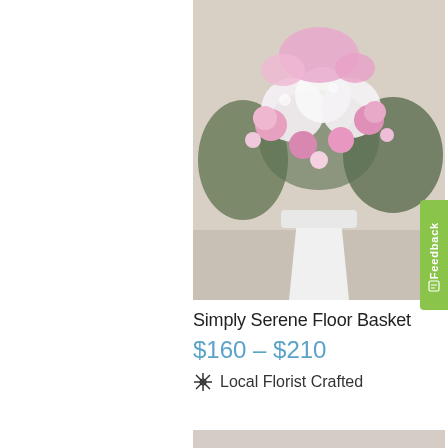[Figure (photo): Pink and white floral arrangement in a white vase/basket with roses, hydrangeas, and greenery on a neutral surface]
Simply Serene Floor Basket
$160 – $210
Local Florist Crafted
[Figure (photo): Two tall orchid plants with pink and yellow blooms on long stems with dark support stakes, green ferns at the base, on a neutral background]